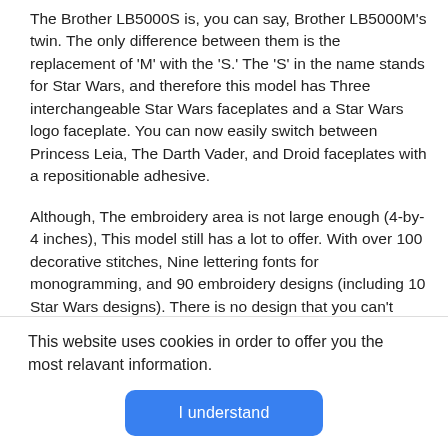The Brother LB5000S is, you can say, Brother LB5000M's twin. The only difference between them is the replacement of 'M' with the 'S.' The 'S' in the name stands for Star Wars, and therefore this model has Three interchangeable Star Wars faceplates and a Star Wars logo faceplate. You can now easily switch between Princess Leia, The Darth Vader, and Droid faceplates with a repositionable adhesive.
Although, The embroidery area is not large enough (4-by-4 inches), This model still has a lot to offer. With over 100 decorative stitches, Nine lettering fonts for monogramming, and 90 embroidery designs (including 10 Star Wars designs). There is no design that you can't make with
This website uses cookies in order to offer you the most relavant information.
I understand